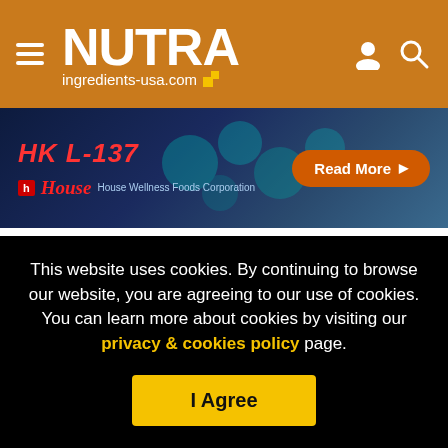NUTRA ingredients-usa.com
[Figure (photo): HK L-137 advertisement banner for House Wellness Foods Corporation with Read More button on dark blue background with teal circular shapes]
The 80 subjects receiving B Vitamins showed significantly less brain degeneration than the placebo group.
Disease shrinks eight times
[Figure (photo): Advertisement banner with pink/cream background showing 'Clinically Validated and Patented' and 'from Market Leader' text with a decorative candy cane image on the right]
This website uses cookies. By continuing to browse our website, you are agreeing to our use of cookies. You can learn more about cookies by visiting our privacy & cookies policy page.
I Agree